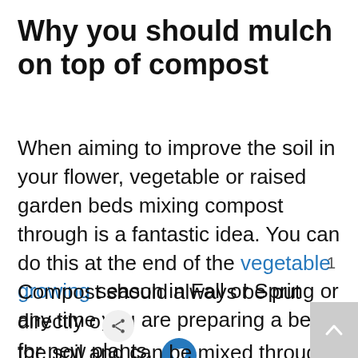Why you should mulch on top of compost
When aiming to improve the soil in your flower, vegetable or raised garden beds mixing compost through is a fantastic idea. You can do this at the end of the vegetable growing season in Fall or Spring or any time you are preparing a bed for new plants.
Compost should always be put directly on the soil and can be mixed through with your garden fork or left to mix through naturally. Adding layers of compost is a great way to